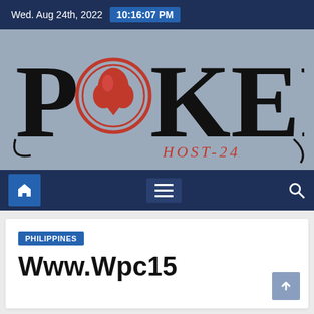Wed. Aug 24th, 2022  10:16:07 PM
[Figure (logo): POKER HOST-24 logo with red spade/diamond emblem replacing the O in POKER, large stylized black lettering on grey-blue background]
[Figure (screenshot): Navigation bar with home icon button (blue), hamburger menu icon, and search icon on dark navy background]
PHILIPPINES
Www.Wpc15